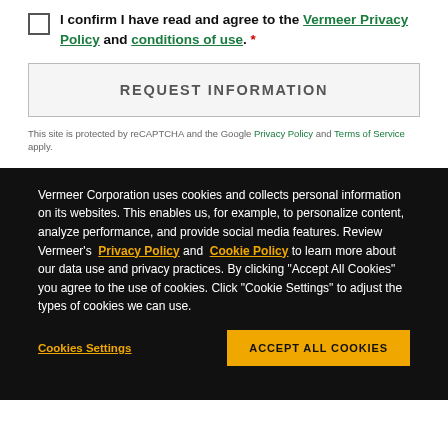I confirm I have read and agree to the Vermeer Privacy Policy and conditions of use. *
REQUEST INFORMATION
This site is protected by reCAPTCHA and the Google Privacy Policy and Terms of Service apply.
Vermeer Corporation uses cookies and collects personal information on its websites. This enables us, for example, to personalize content, analyze performance, and provide social media features. Review Vermeer's Privacy Policy and Cookie Policy to learn more about our data use and privacy practices. By clicking "Accept All Cookies" you agree to the use of cookies. Click "Cookie Settings" to adjust the types of cookies we can use.
Cookies Settings
ACCEPT ALL COOKIES